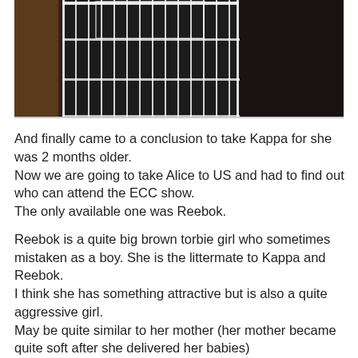[Figure (photo): Partial view of a white wire cage against a dark wooden background, only the bottom portion of the cage is visible]
And finally came to a conclusion to take Kappa for she was 2 months older.
Now we are going to take Alice to US and had to find out who can attend the ECC show.
The only available one was Reebok.

Reebok is a quite big brown torbie girl who sometimes mistaken as a boy. She is the littermate to Kappa and Reebok.
I think she has something attractive but is also a quite aggressive girl.
May be quite similar to her mother (her mother became quite soft after she delivered her babies)
Personally I was wondering about showing Reebock. I was quite sure that she does not like the show.
She had a quite different personality comparing to Kappa and Bushido who are her litter mates. One of the reasons is